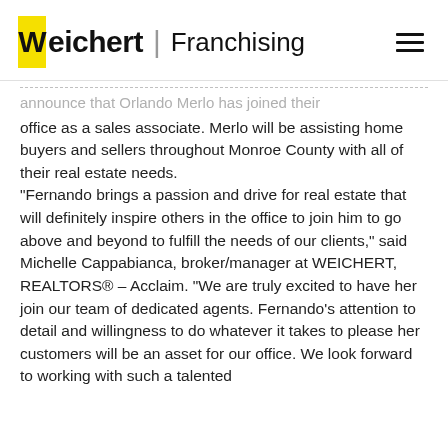Weichert | Franchising
...announce that Orlando Merlo has joined their office as a sales associate. Merlo will be assisting home buyers and sellers throughout Monroe County with all of their real estate needs. “Fernando brings a passion and drive for real estate that will definitely inspire others in the office to join him to go above and beyond to fulfill the needs of our clients,” said Michelle Cappabianca, broker/manager at WEICHERT, REALTORS® – Acclaim. “We are truly excited to have her join our team of dedicated agents. Fernando’s attention to detail and willingness to do whatever it takes to please her customers will be an asset for our office. We look forward to working with such a talented